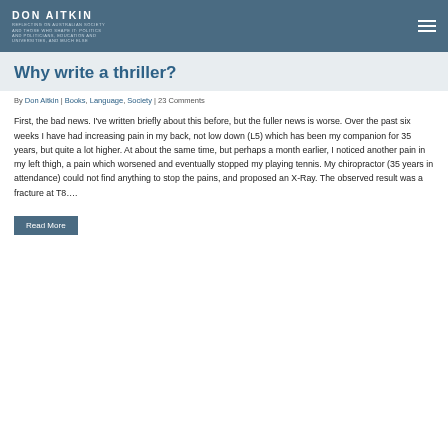DON AITKIN
Why write a thriller?
By Don Aitkin | Books, Language, Society | 23 Comments
First, the bad news. I've written briefly about this before, but the fuller news is worse. Over the past six weeks I have had increasing pain in my back, not low down (L5) which has been my companion for 35 years, but quite a lot higher. At about the same time, but perhaps a month earlier, I noticed another pain in my left thigh, a pain which worsened and eventually stopped my playing tennis. My chiropractor (35 years in attendance) could not find anything to stop the pains, and proposed an X-Ray. The observed result was a fracture at T8….
Read More